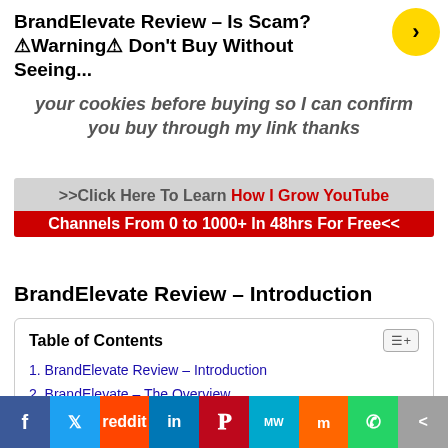BrandElevate Review – Is Scam? ⚠Warning⚠ Don't Buy Without Seeing...
your cookies before buying so I can confirm you buy through my link thanks
>>Click Here To Learn How I Grow YouTube Channels From 0 to 1000+ In 48hrs For Free<<
BrandElevate Review – Introduction
| Table of Contents |
| --- |
| 1. BrandElevate Review – Introduction |
| 2. BrandElevate – The Overview |
| 3. BrandElevate Demo Video |
| 4. BrandElevate FEATURE |
[Figure (infographic): Social sharing bar with icons for Facebook, Twitter, Reddit, LinkedIn, Pinterest, ManyWords, Mix, WhatsApp, and Share]